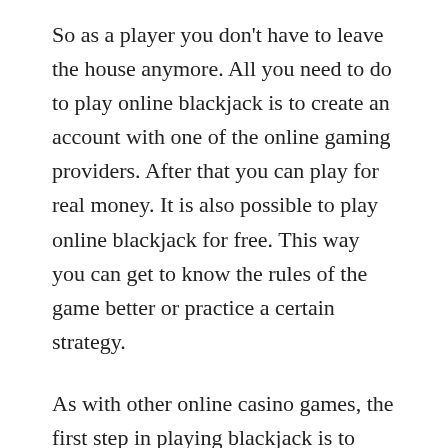So as a player you don't have to leave the house anymore. All you need to do to play online blackjack is to create an account with one of the online gaming providers. After that you can play for real money. It is also possible to play online blackjack for free. This way you can get to know the rules of the game better or practice a certain strategy.
As with other online casino games, the first step in playing blackjack is to place a bet. Often there is a minimum bet, which can be found in the game rules or identified by the smallest value on the chips displayed. To play